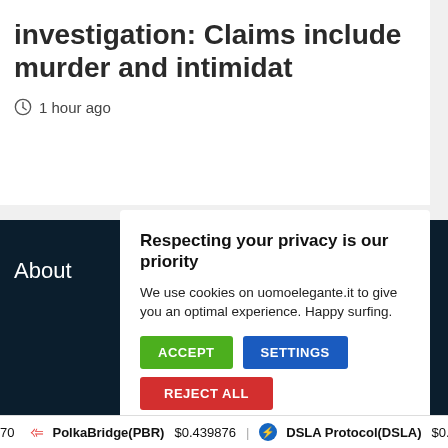investigation: Claims include murder and intimidat
1 hour ago
About
Respecting your privacy is our priority
We use cookies on uomoelegante.it to give you an optimal experience. Happy surfing.
ACCEPT
SETTINGS
REJECT ALL
70  PolkaBridge(PBR) $0.439876  DSLA Protocol(DSLA) $0.